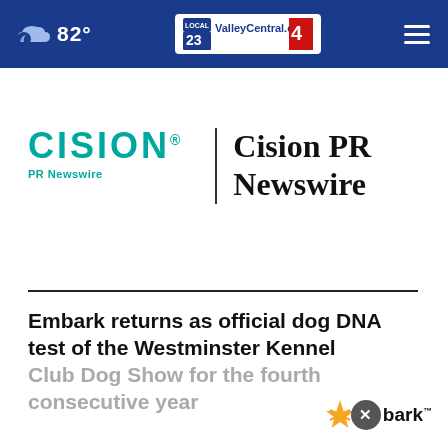82° ValleyCentral.com 23/4
[Figure (logo): Cision PR Newswire logo with teal CISION wordmark, vertical divider, and bold serif 'Cision PR Newswire' text]
Embark returns as official dog DNA test of the Westminster Kennel Club Dog Show for the fourth consecutive year
[Figure (logo): Embark logo with orange paw/star icon, dark circle X close button, and bold 'bark' text with trademark symbol]